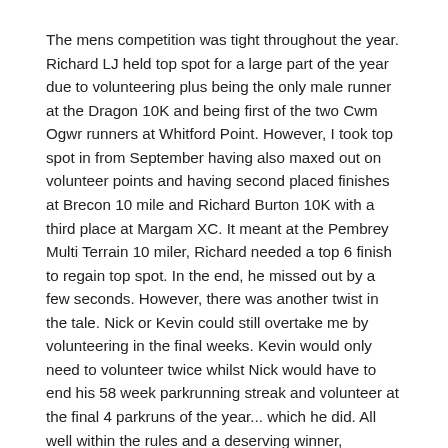The mens competition was tight throughout the year. Richard LJ held top spot for a large part of the year due to volunteering plus being the only male runner at the Dragon 10K and being first of the two Cwm Ogwr runners at Whitford Point. However, I took top spot in from September having also maxed out on volunteer points and having second placed finishes at Brecon 10 mile and Richard Burton 10K with a third place at Margam XC. It meant at the Pembrey Multi Terrain 10 miler, Richard needed a top 6 finish to regain top spot. In the end, he missed out by a few seconds. However, there was another twist in the tale. Nick or Kevin could still overtake me by volunteering in the final weeks. Kevin would only need to volunteer twice whilst Nick would have to end his 58 week parkrunning streak and volunteer at the final 4 parkruns of the year... which he did. All well within the rules and a deserving winner,